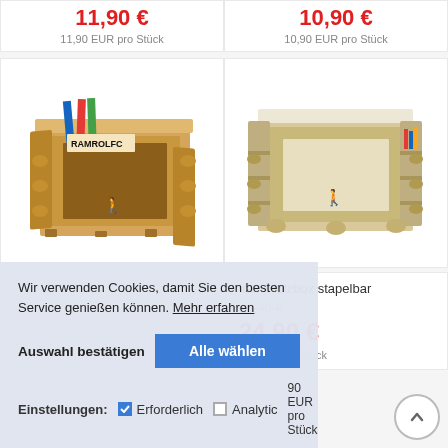11,90 €
11,90 EUR pro Stück
10,90 €
10,90 EUR pro Stück
[Figure (photo): Wooden record crate with vinyl records inside, displaying 'RAMROLFO' text, natural wood, small figure logo on front]
[Figure (photo): Wooden stackable record box with natural wood finish, small figure logo on front, records visible on sides]
itten Holzbox stapelbar
28,90 €
24,90 €
90 EUR pro Stück
Wir verwenden Cookies, damit Sie den besten Service genießen können. Mehr erfahren
Auswahl bestätigen
Alle wählen
Einstellungen:
Erforderlich
Analytics